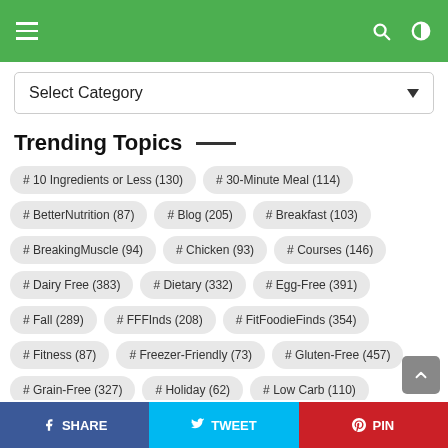Navigation bar with menu, search, and theme toggle
Select Category
Trending Topics
# 10 Ingredients or Less (130)
# 30-Minute Meal (114)
# BetterNutrition (87)
# Blog (205)
# Breakfast (103)
# BreakingMuscle (94)
# Chicken (93)
# Courses (146)
# Dairy Free (383)
# Dietary (332)
# Egg-Free (391)
# Fall (289)
# FFFInds (208)
# FitFoodieFinds (354)
# Fitness (87)
# Freezer-Friendly (73)
# Gluten-Free (457)
# Grain-Free (327)
# Holiday (62)
# Low Carb (110)
# Lunch & Dinner (237)
# Meal (336)
# Meal-Prep (254)
SHARE  TWEET  PIN